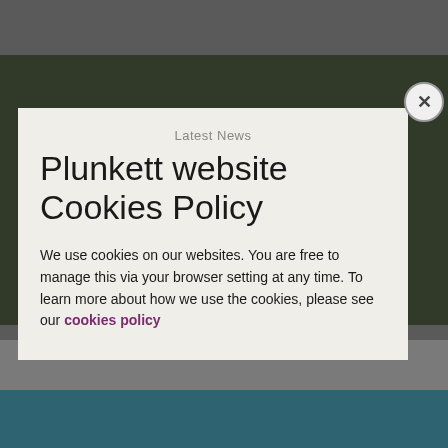[Figure (screenshot): Website screenshot showing a dark forest background image with a gray overlay, a teal footer bar, and a cookie policy modal dialog overlay.]
Latest News
Plunkett website Cookies Policy
We use cookies on our websites. You are free to manage this via your browser setting at any time. To learn more about how we use the cookies, please see our cookies policy